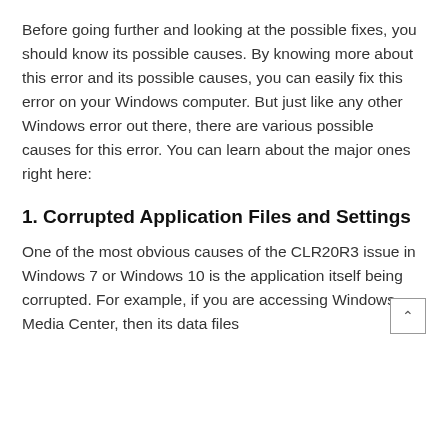Before going further and looking at the possible fixes, you should know its possible causes. By knowing more about this error and its possible causes, you can easily fix this error on your Windows computer. But just like any other Windows error out there, there are various possible causes for this error. You can learn about the major ones right here:
1. Corrupted Application Files and Settings
One of the most obvious causes of the CLR20R3 issue in Windows 7 or Windows 10 is the application itself being corrupted. For example, if you are accessing Windows Media Center, then its data files